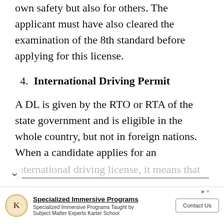own safety but also for others. The applicant must have also cleared the examination of the 8th standard before applying for this license.
4. International Driving Permit
A DL is given by the RTO or RTA of the state government and is eligible in the whole country, but not in foreign nations. When a candidate applies for an international driving license, it means that
[Figure (other): Advertisement banner for Specialized Immersive Programs by Karter School with logo, text, and Contact Us button]